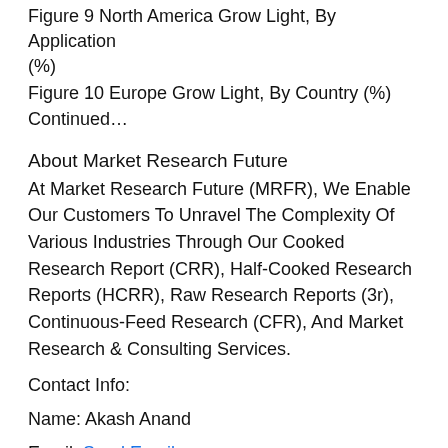Figure 9 North America Grow Light, By Application (%)
Figure 10 Europe Grow Light, By Country (%) Continued…
About Market Research Future
At Market Research Future (MRFR), We Enable Our Customers To Unravel The Complexity Of Various Industries Through Our Cooked Research Report (CRR), Half-Cooked Research Reports (HCRR), Raw Research Reports (3r), Continuous-Feed Research (CFR), And Market Research & Consulting Services.
Contact Info:
Name: Akash Anand
Email: Send Email
Organization: Market Research future
Address: Market Research Future Magarpatte Road,